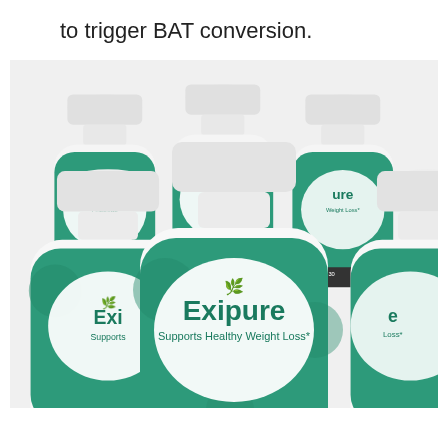to trigger BAT conversion.
[Figure (photo): Six white supplement bottles with teal/green Exipure labels arranged in a group. Each bottle reads 'Exipure Supports Healthy Weight Loss' with '30 NON-GMO CAPSULES' and 'DIETARY SUPPLEMENT' on the label.]